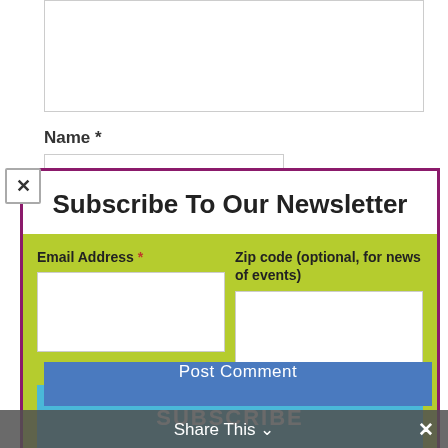(textarea, partially visible)
Name *
[Figure (screenshot): Newsletter subscription modal with purple border containing title 'Subscribe To Our Newsletter', a green background section with Email Address and Zip code fields, and a blue SUBSCRIBE button]
Post Comment
Share This